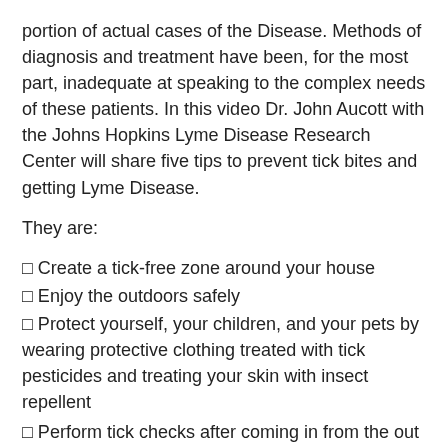portion of actual cases of the Disease. Methods of diagnosis and treatment have been, for the most part, inadequate at speaking to the complex needs of these patients. In this video Dr. John Aucott with the Johns Hopkins Lyme Disease Research Center will share five tips to prevent tick bites and getting Lyme Disease.
They are:
Create a tick-free zone around your house
Enjoy the outdoors safely
Protect yourself, your children, and your pets by wearing protective clothing treated with tick pesticides and treating your skin with insect repellent
Perform tick checks after coming in from the out of doors and showering
Remove ticks once found immediately by grasping them with a tweezer and pulling them off of the skin